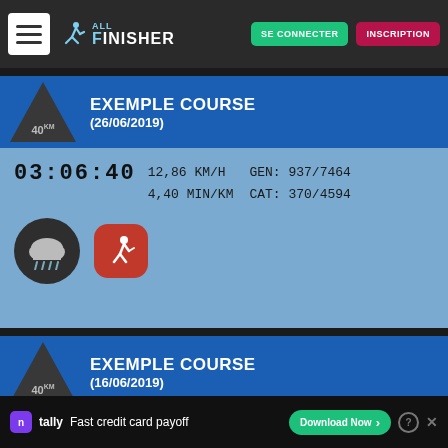ALL FINISHER — SE CONNECTER | INSCRIPTION
EXEMPLE COURSE (26/06/2019) — 40km
03:06:40  12,86 KM/H  4,40 MIN/KM  GEN: 937/7464  CAT: 370/4594
[Figure (illustration): Rain/cloudy weather icon inside dark circle, and Strava running app icon (red rounded square with white runner)]
EXEMPLE COURSE (16/06/2019) — 40km
03:04:40  13 KM/H  4,?? MIN/KM  GEN: 677/9082  CAT: ?/?/????
[Figure (illustration): Tally app advertisement banner: Fast credit card payoff, Download Now button]
Tally — Fast credit card payoff — Download Now